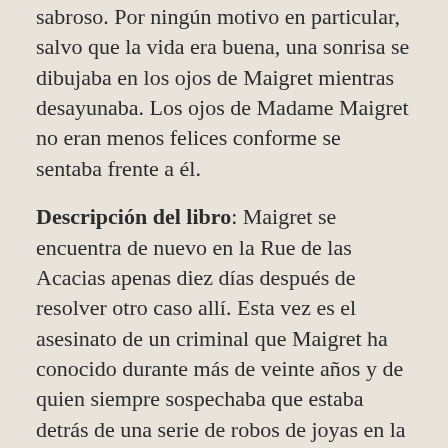sabroso. Por ningún motivo en particular, salvo que la vida era buena, una sonrisa se dibujaba en los ojos de Maigret mientras desayunaba. Los ojos de Madame Maigret no eran menos felices conforme se sentaba frente a él.
Descripción del libro: Maigret se encuentra de nuevo en la Rue de las Acacias apenas diez días después de resolver otro caso allí. Esta vez es el asesinato de un criminal que Maigret ha conocido durante más de veinte años y de quien siempre sospechaba que estaba detrás de una serie de robos de joyas en la ciudad. La paciencia de Maigret se pone a prueba conforme va eliminando un vecino tras otro en su búsqueda del asesino.